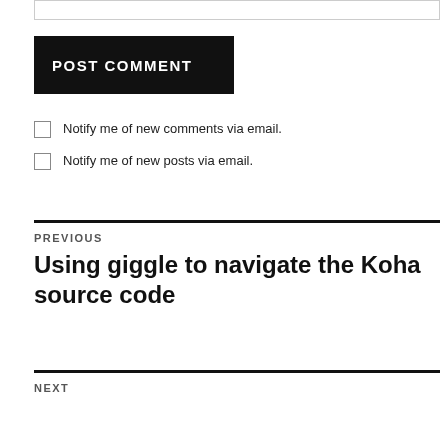[Figure (other): Input text box (top of page, partially visible)]
POST COMMENT
Notify me of new comments via email.
Notify me of new posts via email.
PREVIOUS
Using giggle to navigate the Koha source code
NEXT